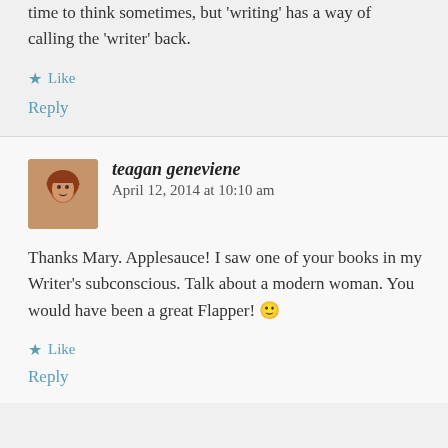time to think sometimes, but 'writing' has a way of calling the 'writer' back.
★ Like
Reply
teagan geneviene   April 12, 2014 at 10:10 am
Thanks Mary. Applesauce! I saw one of your books in my Writer's subconscious. Talk about a modern woman. You would have been a great Flapper! 🙂
★ Like
Reply